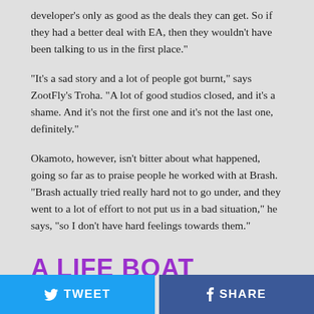developer's only as good as the deals they can get. So if they had a better deal with EA, then they wouldn't have been talking to us in the first place."
"It's a sad story and a lot of people got burnt," says ZootFly's Troha. "A lot of good studios closed, and it's a shame. And it's not the first one and it's not the last one, definitely."
Okamoto, however, isn't bitter about what happened, going so far as to praise people he worked with at Brash. "Brash actually tried really hard not to go under, and they went to a lot of effort to not put us in a bad situation," he says, "so I don't have hard feelings towards them."
A LIFE BOAT
TWEET  SHARE